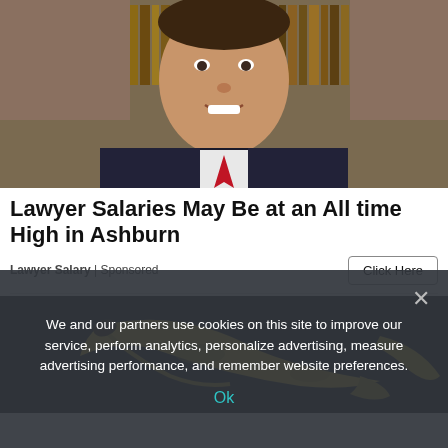[Figure (photo): Portrait of a smiling man in a black suit with red tie, standing in front of a bookshelf with law books]
Lawyer Salaries May Be at an All time High in Ashburn
Lawyer Salary | Sponsored
[Figure (photo): Close-up photo of a banana peel on a dark background]
We and our partners use cookies on this site to improve our service, perform analytics, personalize advertising, measure advertising performance, and remember website preferences.
Ok